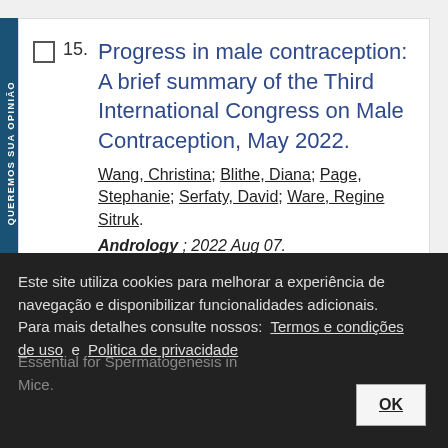15. Progress in male contraception: A brief summary of the Third International Congress on Male Contraception, May 2022. Wang, Christina; Blithe, Diana; Page, Stephanie; Serfaty, David; Ware, Regine Sitruk. Andrology ; 2022 Aug 07. Artigo em Inglês | MEDLINE | ID: mdl-35933736
Este site utiliza cookies para melhorar a experiência de navegação e disponibilizar funcionalidades adicionais. Para mais detalhes consulte nossos: Termos e condições de uso e Politica de privacidade
Essential for Spermatogenesis in Mice.